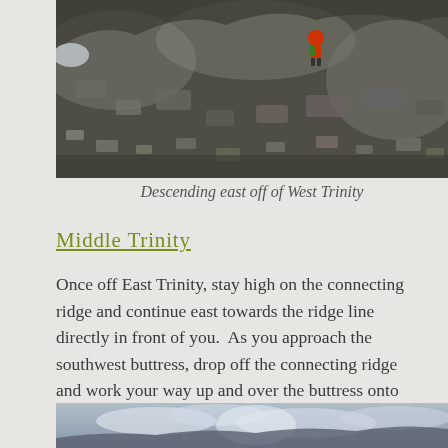[Figure (photo): A hiker in red and green descending a rocky ridge on West Trinity mountain, with talus slopes and mountain ridgeline in background.]
Descending east off of West Trinity
Middle Trinity
Once off East Trinity, stay high on the connecting ridge and continue east towards the ridge line directly in front of you.  As you approach the southwest buttress, drop off the connecting ridge and work your way up and over the buttress onto the south face of Middle Trinity and onto a series of grassy ledges.
[Figure (photo): Partial view of sky with clouds and mountain, cropped at bottom of page.]